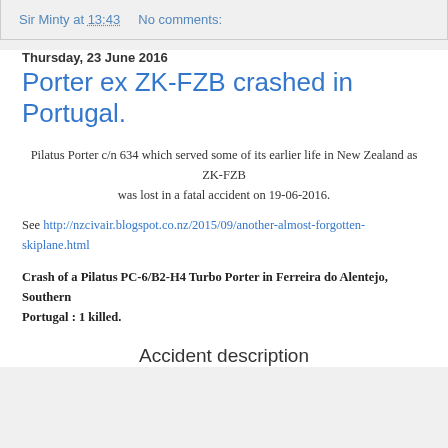Sir Minty at 13:43    No comments:
Thursday, 23 June 2016
Porter ex ZK-FZB crashed in Portugal.
Pilatus Porter c/n 634 which served some of its earlier life in New Zealand as ZK-FZB was lost in a fatal accident on 19-06-2016.
See http://nzcivair.blogspot.co.nz/2015/09/another-almost-forgotten-skiplane.html
Crash of a Pilatus PC-6/B2-H4 Turbo Porter in Ferreira do Alentejo, Southern Portugal : 1 killed.
Accident description